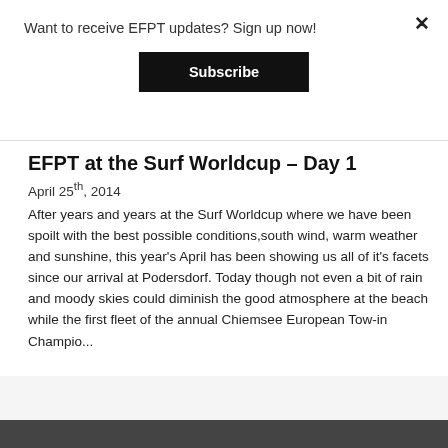Want to receive EFPT updates? Sign up now!
Subscribe
EFPT at the Surf Worldcup – Day 1
April 25th, 2014
After years and years at the Surf Worldcup where we have been spoilt with the best possible conditions,south wind, warm weather and sunshine, this year's April has been showing us all of it's facets since our arrival at Podersdorf. Today though not even a bit of rain and moody skies could diminish the good atmosphere at the beach while the first fleet of the annual Chiemsee European Tow-in Champio...